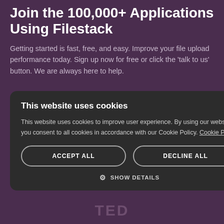Join the 100,000+ Applications Using Filestack
Getting started is fast, free, and easy. Improve your file upload performance today. Sign up now for free or click the 'talk to us' button. We are always here to help.
[Figure (screenshot): Cookie consent modal dialog with dark background. Contains title 'This website uses cookies', body text about cookie policy, ACCEPT ALL and DECLINE ALL buttons, and SHOW DETAILS option with gear icon. A close (×) button is at top right. A partially visible 'Pricing' button appears behind the modal at top right.]
TED